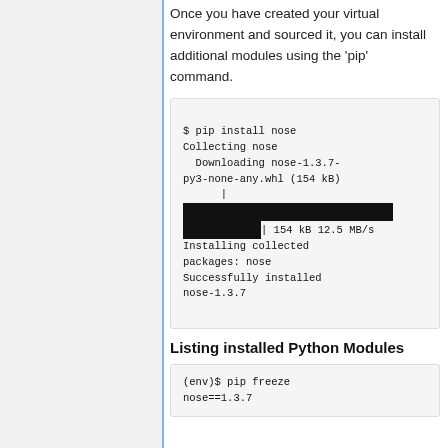Once you have created your virtual environment and sourced it, you can install additional modules using the 'pip' command.
[Figure (screenshot): Terminal output showing pip install nose command with progress bar and success message]
Listing installed Python Modules
[Figure (screenshot): Terminal showing (env)$ pip freeze command with nose==1.3.7 output]